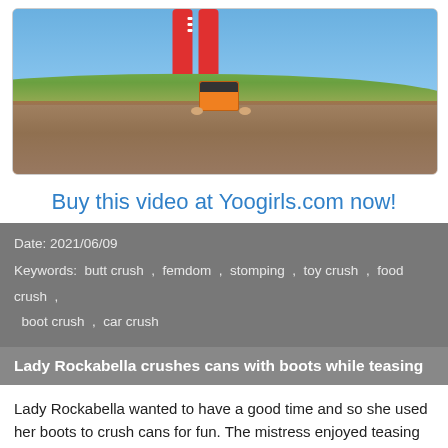[Figure (photo): Outdoor photo showing red-legged person bending over an orange and black object (toy/can) on dirt ground with grass hill and blue sky in background]
Buy this video at Yoogirls.com now!
Date: 2021/06/09
Keywords: butt crush , femdom , stomping , toy crush , food crush , boot crush , car crush
Lady Rockabella crushes cans with boots while teasing
Lady Rockabella wanted to have a good time and so she used her boots to crush cans for fun. The mistress enjoyed teasing as well as crushing the cans and it was a great mix. The mistress was